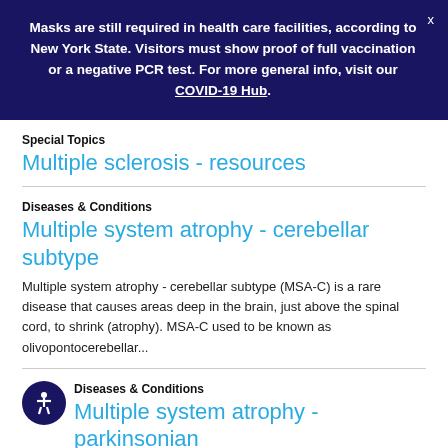Masks are still required in health care facilities, according to New York State. Visitors must show proof of full vaccination or a negative PCR test. For more general info, visit our COVID-19 Hub.
Special Topics
Multiple sclerosis - resources
Diseases & Conditions
Multiple system atrophy - cerebellar subtype
Multiple system atrophy - cerebellar subtype (MSA-C) is a rare disease that causes areas deep in the brain, just above the spinal cord, to shrink (atrophy). MSA-C used to be known as olivopontocerebellar...
Diseases & Conditions
Multiple system atrophy - parkinsonian